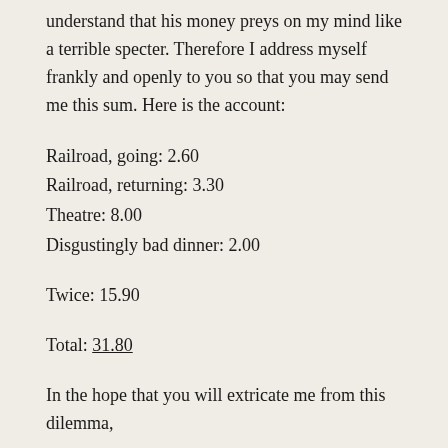understand that his money preys on my mind like a terrible specter. Therefore I address myself frankly and openly to you so that you may send me this sum. Here is the account:
Railroad, going: 2.60
Railroad, returning: 3.30
Theatre: 8.00
Disgustingly bad dinner: 2.00
Twice: 15.90
Total: 31.80
In the hope that you will extricate me from this dilemma,
I am yours sincerely,